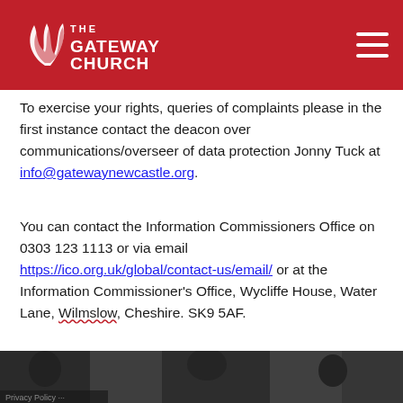The Gateway Church – logo and navigation header
To exercise your rights, queries of complaints please in the first instance contact the deacon over communications/overseer of data protection Jonny Tuck at info@gatewaynewcastle.org.
You can contact the Information Commissioners Office on 0303 123 1113 or via email https://ico.org.uk/global/contact-us/email/ or at the Information Commissioner's Office, Wycliffe House, Water Lane, Wilmslow, Cheshire. SK9 5AF.
[Figure (photo): Dark photographic image strip at the bottom of the page showing people in a room setting]